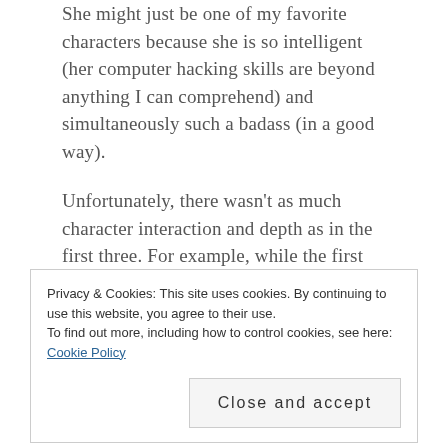She might just be one of my favorite characters because she is so intelligent (her computer hacking skills are beyond anything I can comprehend) and simultaneously such a badass (in a good way).
Unfortunately, there wasn't as much character interaction and depth as in the first three. For example, while the first three had me gripping the books in anticipation, I wasn't quite as engaged in this one. It's also shorter than the original books; which may have had something to do with it.
Privacy & Cookies: This site uses cookies. By continuing to use this website, you agree to their use. To find out more, including how to control cookies, see here: Cookie Policy
Close and accept